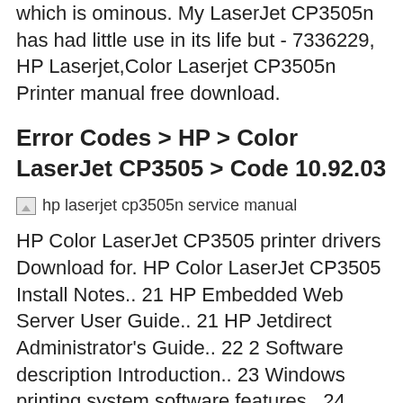which is ominous. My LaserJet CP3505n has had little use in its life but - 7336229, HP Laserjet,Color Laserjet CP3505n Printer manual free download.
Error Codes > HP > Color LaserJet CP3505 > Code 10.92.03
[Figure (photo): Broken image placeholder with alt text: hp laserjet cp3505n service manual]
HP Color LaserJet CP3505 printer drivers Download for. HP Color LaserJet CP3505 Install Notes.. 21 HP Embedded Web Server User Guide.. 21 HP Jetdirect Administrator's Guide.. 22 2 Software description Introduction.. 23 Windows printing system software features.. 24